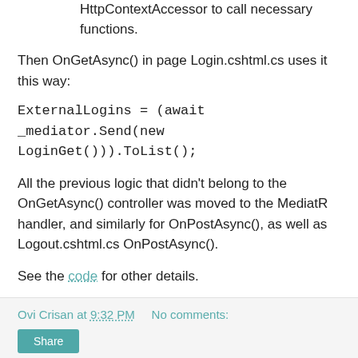HttpContextAccessor to call necessary functions.
Then OnGetAsync() in page Login.cshtml.cs uses it this way:
ExternalLogins = (await _mediator.Send(new LoginGet())).ToList();
All the previous logic that didn't belong to the OnGetAsync() controller was moved to the MediatR handler, and similarly for OnPostAsync(), as well as Logout.cshtml.cs OnPostAsync().
See the code for other details.
Ovi Crisan at 9:32 PM    No comments:
Share
Monday, March 25, 2019
Visitor pattern on .NET Fiddle
A few days ago, I discovered .Net Fiddle, which I was told to try